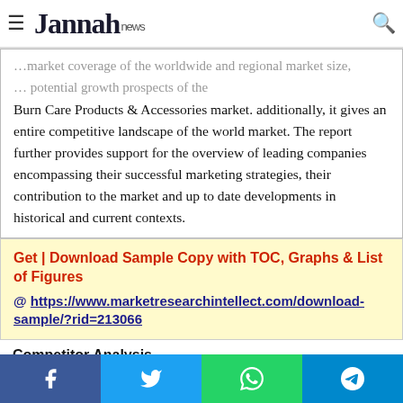Jannah news
Burn Care Products & Accessories market. additionally, it gives an entire competitive landscape of the world market. The report further provides support for the overview of leading companies encompassing their successful marketing strategies, their contribution to the market and up to date developments in historical and current contexts.
Get | Download Sample Copy with TOC, Graphs & List of Figures @ https://www.marketresearchintellect.com/download-sample/?rid=213066
Competitor Analysis
Understanding the changing needs of consumers, changes in the industry, legislative trends and user preferences is important to
Facebook Twitter WhatsApp Telegram